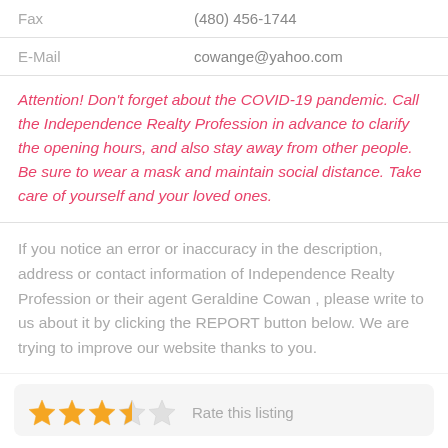| Field | Value |
| --- | --- |
| Fax | (480) 456-1744 |
| E-Mail | cowange@yahoo.com |
Attention! Don't forget about the COVID-19 pandemic. Call the Independence Realty Profession in advance to clarify the opening hours, and also stay away from other people. Be sure to wear a mask and maintain social distance. Take care of yourself and your loved ones.
If you notice an error or inaccuracy in the description, address or contact information of Independence Realty Profession or their agent Geraldine Cowan , please write to us about it by clicking the REPORT button below. We are trying to improve our website thanks to you.
[Figure (other): Star rating widget showing approximately 3.5 stars out of 5 with a 'Rate this listing' label]